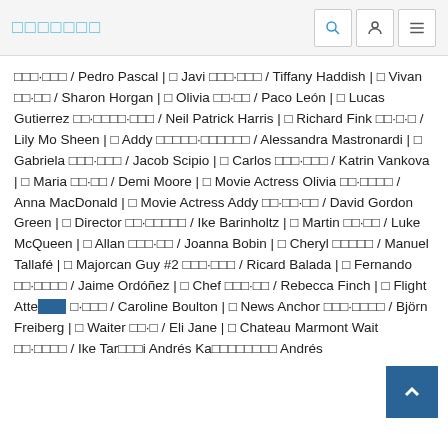□□□□□□□
□□□·□□□ / Pedro Pascal | □ Javi □□□·□□□ / Tiffany Haddish | □ Vivan □□·□□ / Sharon Horgan | □ Olivia □□·□□ / Paco León | □ Lucas Gutierrez □□·□□□□·□□□ / Neil Patrick Harris | □ Richard Fink □□·□·□ / Lily Mo Sheen | □ Addy □□□□□·□□□□□□ / Alessandra Mastronardi | □ Gabriela □□□·□□□ / Jacob Scipio | □ Carlos □□□·□□□ / Katrin Vankova | □ Maria □□·□□ / Demi Moore | □ Movie Actress Olivia □□·□□□□ / Anna MacDonald | □ Movie Actress Addy □□·□□·□□ / David Gordon Green | □ Director □□·□□□□□ / Ike Barinholtz | □ Martin □□·□□ / Luke McQueen | □ Allan □□□·□□ / Joanna Bobin | □ Cheryl □□□□□ / Manuel Tallafé | □ Majorcan Guy #2 □□□·□□□ / Ricard Balada | □ Fernando □□·□□□□ / Jaime Ordóñez | □ Chef □□□·□□ / Rebecca Finch | □ Flight Atte□□□ □·□□□ / Caroline Boulton | □ News Anchor □□□·□□□□ / Björn Freiberg | □ Waiter □□·□ / Eli Jane | □ Chateau Marmont Waiter □□·□□□ / Ike Tar□□□i Andrés Ka□□□□□□□□ Andrés